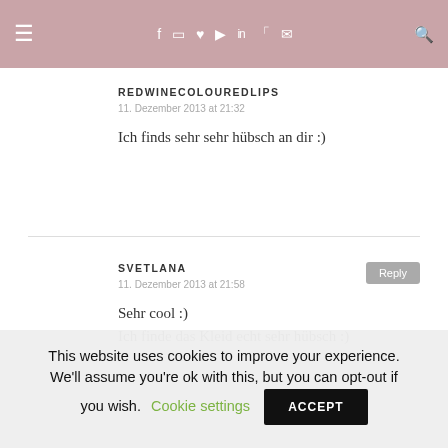≡ f ♡ ▶ in ))) ✉ 🔍
REDWINECOLOUREDLIPS
11. Dezember 2013 at 21:32
Ich finds sehr sehr hübsch an dir :)
SVETLANA
11. Dezember 2013 at 21:58
Sehr cool :)
Ich finde das Kleid echt sehr hübsch :)
This website uses cookies to improve your experience. We'll assume you're ok with this, but you can opt-out if you wish. Cookie settings ACCEPT